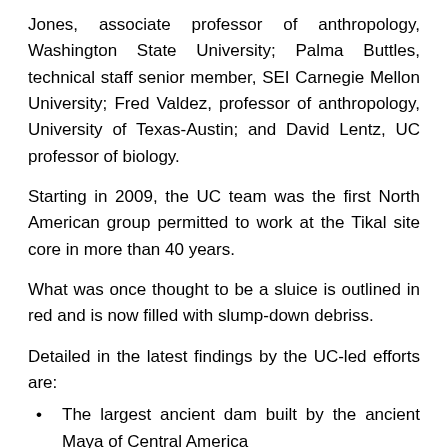Jones, associate professor of anthropology, Washington State University; Palma Buttles, technical staff senior member, SEI Carnegie Mellon University; Fred Valdez, professor of anthropology, University of Texas-Austin; and David Lentz, UC professor of biology.
Starting in 2009, the UC team was the first North American group permitted to work at the Tikal site core in more than 40 years.
What was once thought to be a sluice is outlined in red and is now filled with slump-down debriss.
Detailed in the latest findings by the UC-led efforts are:
The largest ancient dam built by the ancient Maya of Central America
Discussion on how reservoir waters were likely released
Details on the construction of a cofferdam needed by the